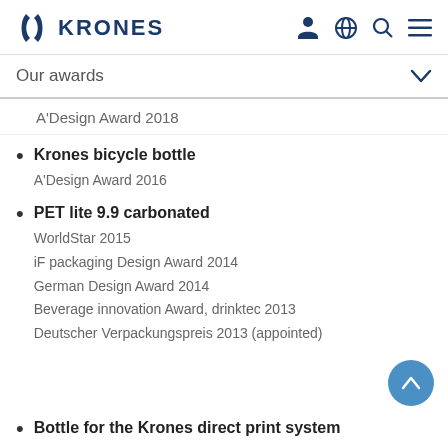KRONES
Our awards
A'Design Award 2018
Krones bicycle bottle
A'Design Award 2016
PET lite 9.9 carbonated
WorldStar 2015
iF packaging Design Award 2014
German Design Award 2014
Beverage innovation Award, drinktec 2013
Deutscher Verpackungspreis 2013 (appointed)
Bottle for the Krones direct print system